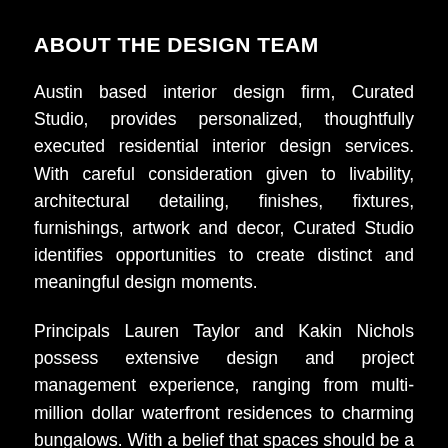ABOUT THE DESIGN TEAM
Austin based interior design firm, Curated Studio, provides personalized, thoughtfully executed residential interior design services. With careful consideration given to livability, architectural detailing, finishes, fixtures, furnishings, artwork and decor, Curated Studio identifies opportunities to create distinct and meaningful design moments.
Principals Lauren Taylor and Kakin Nichols possess extensive design and project management experience, ranging from multi-million dollar waterfront residences to charming bungalows. With a belief that spaces should be a direct reflection of those who occupy them, they value building strong